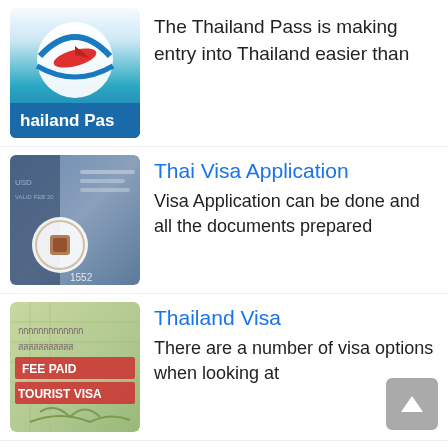[Figure (screenshot): Thailand Pass app icon thumbnail showing blue circular logo with red airplane and wave design, text 'hailand Pas' visible at bottom]
The Thailand Pass is making entry into Thailand easier than
[Figure (photo): Close-up photo of a Thai visa stamp in a passport]
Thai Visa Application
Visa Application can be done and all the documents prepared
[Figure (photo): Photo of a tourist visa stamp showing 'FEE PAID TOURIST VISA' text in red]
Thailand Visa
There are a number of visa options when looking at
[Figure (photo): Partial thumbnail of fourth list item at bottom of page]
Income Tax in Thailand